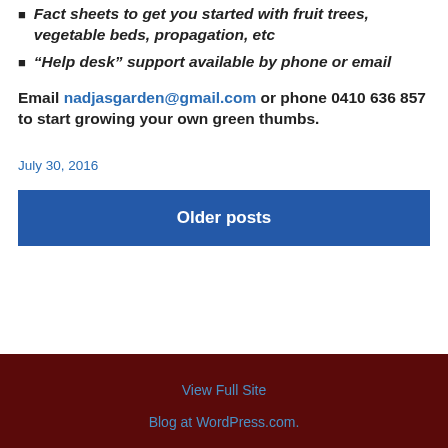Fact sheets to get you started with fruit trees, vegetable beds, propagation, etc
“Help desk” support available by phone or email
Email nadjasgarden@gmail.com or phone 0410 636 857 to start growing your own green thumbs.
July 30, 2016
Older posts
View Full Site
Blog at WordPress.com.